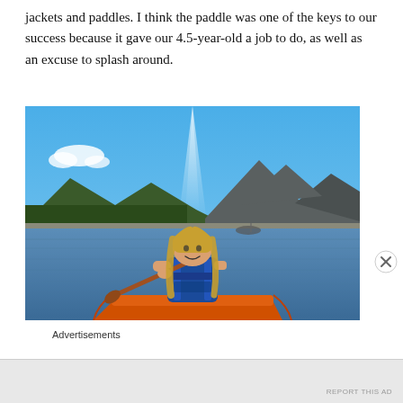jackets and paddles. I think the paddle was one of the keys to our success because it gave our 4.5-year-old a job to do, as well as an excuse to splash around.
[Figure (photo): A young girl with long blonde hair wearing a blue life jacket sits at the front of an orange canoe, holding a paddle. She is on a calm lake with mountains and pine trees in the background under a bright blue sky.]
Advertisements